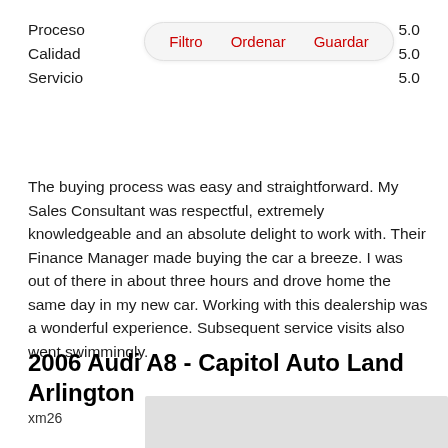Proceso   5.0
Calidad   5.0
Servicio   5.0
[Figure (screenshot): Toolbar/filter bar with three red text buttons: Filtro, Ordenar, Guardar, on a light rounded rectangle background]
The buying process was easy and straightforward. My Sales Consultant was respectful, extremely knowledgeable and an absolute delight to work with. Their Finance Manager made buying the car a breeze. I was out of there in about three hours and drove home the same day in my new car. Working with this dealership was a wonderful experience. Subsequent service visits also went swimmingly.
2006 Audi A8 - Capitol Auto Land Arlington
xm26